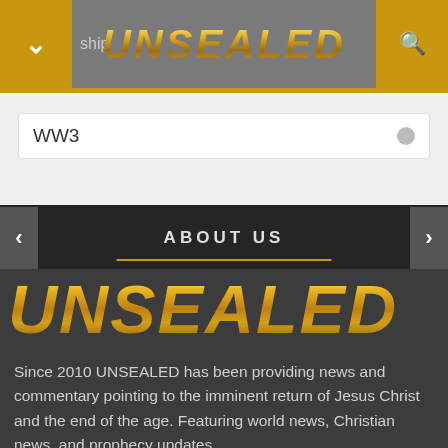UNSEALED
WW3
ABOUT US
UNSEALED
Since 2010 UNSEALED has been providing news and commentary pointing to the imminent return of Jesus Christ and the end of the age. Featuring world news, Christian news, and prophecy updates.